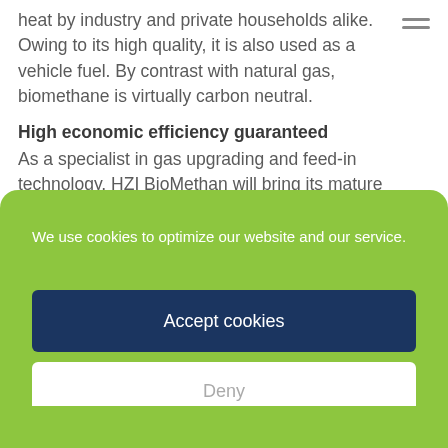heat by industry and private households alike. Owing to its high quality, it is also used as a vehicle fuel. By contrast with natural gas, biomethane is virtually carbon neutral.
High economic efficiency guaranteed
As a specialist in gas upgrading and feed-in technology, HZI BioMethan will bring its mature
We use cookies to optimize our website and our service.
Accept cookies
Deny
View preferences
Data Protection  Data Protection  Imprint